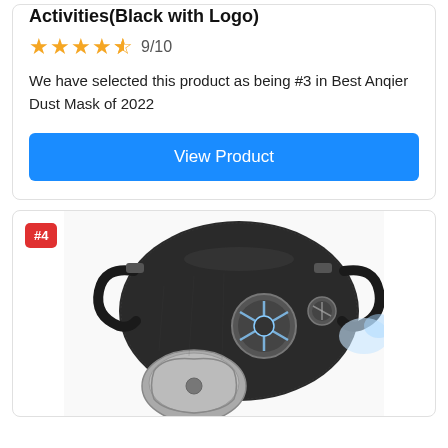Activities(Black with Logo)
★★★★½ 9/10
We have selected this product as being #3 in Best Anqier Dust Mask of 2022
View Product
[Figure (photo): Black dust mask with breathing valve and filter, product #4]
#4